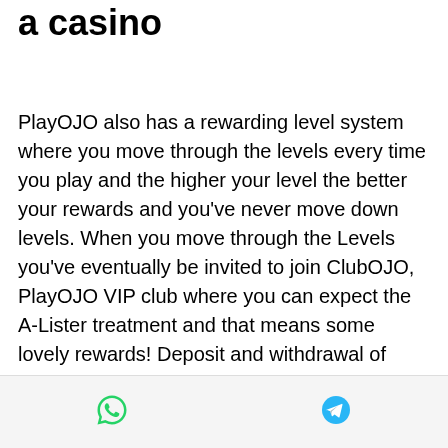a casino
PlayOJO also has a rewarding level system where you move through the levels every time you play and the higher your level the better your rewards and you've never move down levels. When you move through the Levels you've eventually be invited to join ClubOJO, PlayOJO VIP club where you can expect the A-Lister treatment and that means some lovely rewards! Deposit and withdrawal of funds. PlayOJO casino offers the most popular payment methods including all major credit and debit cards, prepaid cards and a host of eWallets including Ecopayz, Skrill, Neteller and many more, most money ever won at a casino.
Once you start using your free spins, you must use all 30 before moving to another
WhatsApp and Telegram icons